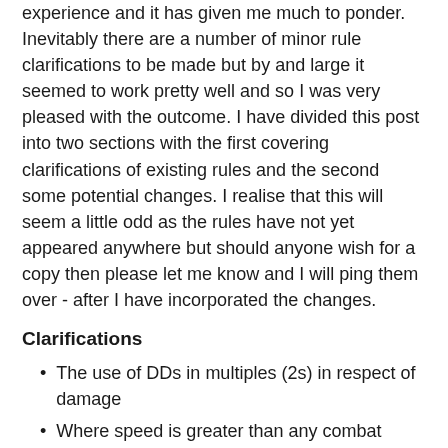experience and it has given me much to ponder. Inevitably there are a number of minor rule clarifications to be made but by and large it seemed to work pretty well and so I was very pleased with the outcome. I have divided this post into two sections with the first covering clarifications of existing rules and the second some potential changes. I realise that this will seem a little odd as the rules have not yet appeared anywhere but should anyone wish for a copy then please let me know and I will ping them over - after I have incorporated the changes.
Clarifications
The use of DDs in multiples (2s) in respect of damage
Where speed is greater than any combat power (again, a DD related issue)
Hit dice scores - when cumulative and when individual (the rule of 6)
Possible Changes and Additions
Line of sight